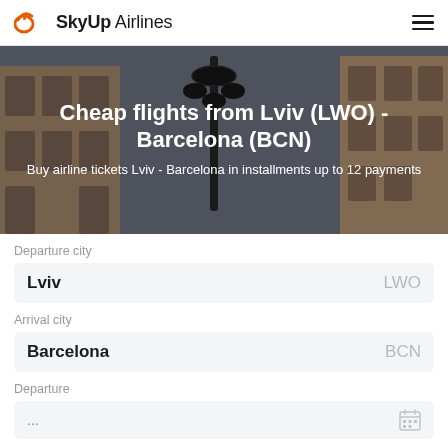SkyUp Airlines
Cheap flights from Lviv (LWO) - Barcelona (BCN)
Buy airline tickets Lviv - Barcelona in installments up to 12 payments
Departure city
Lviv LWO
Arrival city
Barcelona BCN
Departure
...